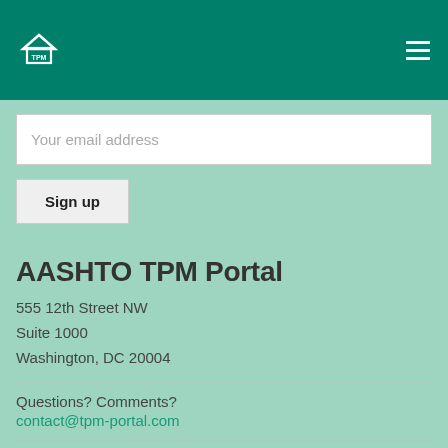[Figure (logo): AASHTO TPM Portal logo: house icon with TPM text on green header bar]
Your email address
Sign up
AASHTO TPM Portal
555 12th Street NW
Suite 1000
Washington, DC 20004
Questions? Comments?
contact@tpm-portal.com
We respect your privacy.